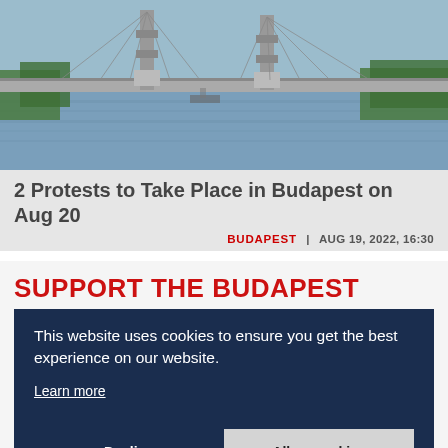[Figure (photo): Aerial/side view photograph of a large bridge over a river, with trees and water visible in the background. Black and white / muted color tones.]
2 Protests to Take Place in Budapest on Aug 20
BUDAPEST | AUG 19, 2022, 16:30
SUPPORT THE BUDAPEST
This website uses cookies to ensure you get the best experience on our website. Learn more
Decline   Allow cookies
Newspaper organizations across the globe have